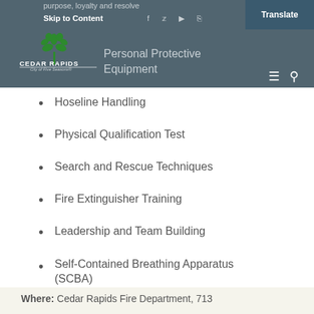purpose, loyalty and resolve
Skip to Content
Learn what it takes to be a firefighter:
Personal Protective Equipment
Hoseline Handling
Physical Qualification Test
Search and Rescue Techniques
Fire Extinguisher Training
Leadership and Team Building
Self-Contained Breathing Apparatus (SCBA)
Where: Cedar Rapids Fire Department, 713